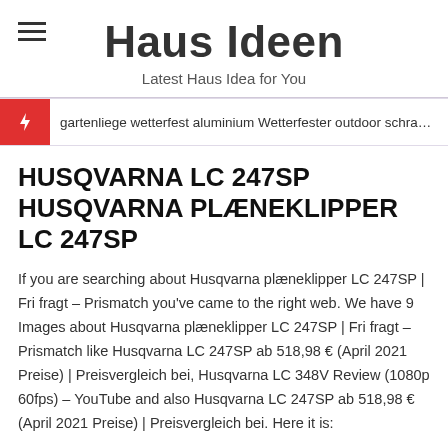Haus Ideen
Latest Haus Idea for You
gartenliege wetterfest aluminium Wetterfester outdoor schrank für die terrasse
HUSQVARNA LC 247SP HUSQVARNA PLÆNEKLIPPER LC 247SP
If you are searching about Husqvarna plæneklipper LC 247SP | Fri fragt – Prismatch you've came to the right web. We have 9 Images about Husqvarna plæneklipper LC 247SP | Fri fragt – Prismatch like Husqvarna LC 247SP ab 518,98 € (April 2021 Preise) | Preisvergleich bei, Husqvarna LC 348V Review (1080p 60fps) – YouTube and also Husqvarna LC 247SP ab 518,98 € (April 2021 Preise) | Preisvergleich bei. Here it is:
Husqvarna Plæneklipper LC